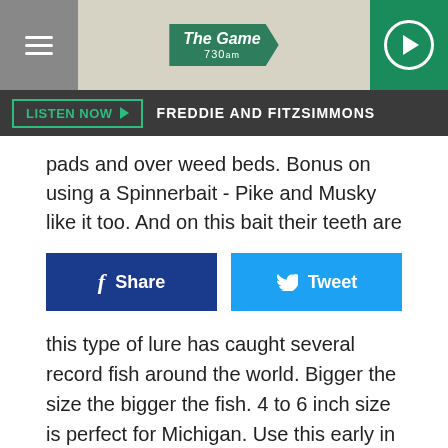The Game 730am | LISTEN NOW | FREDDIE AND FITZSIMMONS
pads and over weed beds. Bonus on using a Spinnerbait - Pike and Musky like it too. And on this bait their teeth are
Share | Tweet
this type of lure has caught several record fish around the world. Bigger the size the bigger the fish. 4 to 6 inch size is perfect for Michigan. Use this early in the day as the sun comes up.
#3 Plastic Worm - This could be #1 on the list, but I like the first two options to fish faster and locate fish. Good all around color is Red Shad and 6 inch is perfect. This is rigged Texas Style and will be weedless. Throw all around cover and